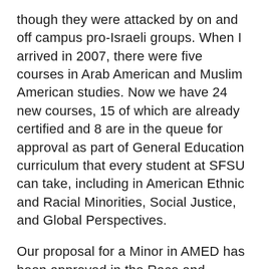though they were attacked by on and off campus pro-Israeli groups. When I arrived in 2007, there were five courses in Arab American and Muslim American studies. Now we have 24 new courses, 15 of which are already certified and 8 are in the queue for approval as part of General Education curriculum that every student at SFSU can take, including in American Ethnic and Racial Minorities, Social Justice, and Global Perspectives.
Our proposal for a Minor in AMED has been approved in the Race and Resistance Studies Program by the College of Ethnic Studies. There